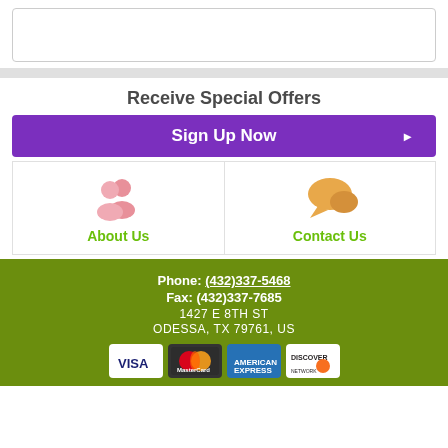Receive Special Offers
Sign Up Now ▶
[Figure (illustration): About Us icon - pink people/users icon above green 'About Us' text]
[Figure (illustration): Contact Us icon - orange speech bubble icon above green 'Contact Us' text]
Phone: (432)337-5468 Fax: (432)337-7685 1427 E 8TH ST ODESSA, TX 79761, US
[Figure (infographic): Payment method icons: Visa, MasterCard, American Express, Discover]